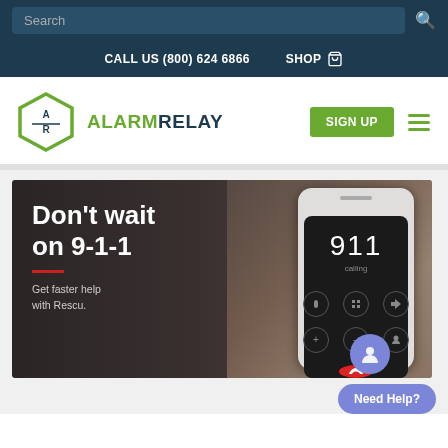Search
CALL US (800) 624 6866   SHOP
[Figure (logo): AlarmRelay hexagon logo with AR letters and ALARMRELAY brand name]
SIGN UP
[Figure (photo): Hero banner image with dark background showing a hand holding a smartphone displaying a 911 call screen. Left side text reads: Don't wait on 9-1-1. Get faster help with Rescu.]
Need Help?